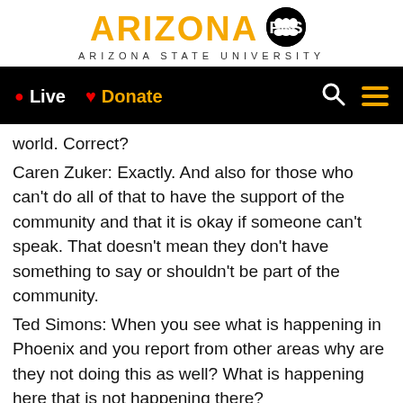[Figure (logo): Arizona PBS / Arizona State University logo with orange text and black PBS circle]
• Live  ♥ Donate
world. Correct?
Caren Zuker: Exactly. And also for those who can't do all of that to have the support of the community and that it is okay if someone can't speak. That doesn't mean they don't have something to say or shouldn't be part of the community.
Ted Simons: When you see what is happening in Phoenix and you report from other areas why are they not doing this as well? What is happening here that is not happening there?
Caren Zuker: There is an awareness. Denise and